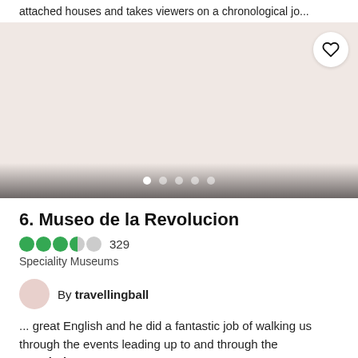attached houses and takes viewers on a chronological jo...
[Figure (photo): Image placeholder with pinkish-beige background, heart/favorite button in top right corner, and carousel navigation dots at the bottom]
6. Museo de la Revolucion
329 (rating: 4 out of 5 circles) — Speciality Museums
By travellingball
... great English and he did a fantastic job of walking us through the events leading up to and through the Revolution.